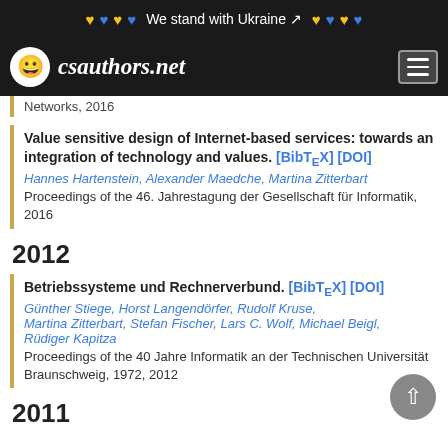We stand with Ukraine
[Figure (logo): csauthors.net logo with smiley face icon]
Networks, 2016
Value sensitive design of Internet-based services: towards an integration of technology and values. [BibTeX] [DOI]
Hannes Hartenstein, Alexander Maedche, Martina Zitterbart
Proceedings of the 46. Jahrestagung der Gesellschaft für Informatik, 2016
2012
Betriebssysteme und Rechnerverbund. [BibTeX] [DOI]
Günther Stiege, Horst Langendörfer, Rudolf Kruse, Martina Zitterbart, Stefan Fischer, Lars C. Wolf, Michael Beigl, Rüdiger Kapitza
Proceedings of the 40 Jahre Informatik an der Technischen Universität Braunschweig, 1972, 2012
2011